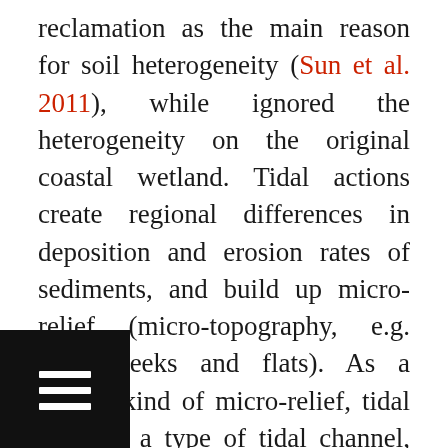reclamation as the main reason for soil heterogeneity (Sun et al. 2011), while ignored the heterogeneity on the original coastal wetland. Tidal actions create regional differences in deposition and erosion rates of sediments, and build up micro-relief (micro-topography, e.g. tidal creeks and flats). As a typical kind of micro-relief, tidal creek is a type of tidal channel, which forms on mudflat and is affected by the ebb and flow of ocean tides (Perillo et al. 2009). Although it was well known that tidal fluctuation could greatly change hydrology and ecological processes in coastal wetlands (Huang et al. 2015), soil properties' heterogeneities affected by a tidal creek in a reclaimed zone was still kept unknown.